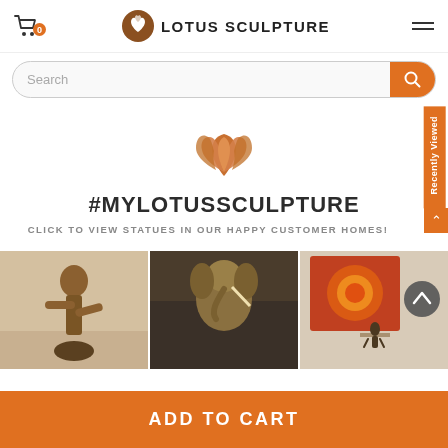LOTUS SCULPTURE
Search
[Figure (illustration): Lotus flower SVG icon in orange/brown color]
#MYLOTUSSCULPTURE
CLICK TO VIEW STATUES IN OUR HAPPY CUSTOMER HOMES!
[Figure (photo): Three customer home photos showing Hindu statues: a dancing figure, a Ganesha statue, and a wall art piece with a small dancing statue]
Recently Viewed
ADD TO CART